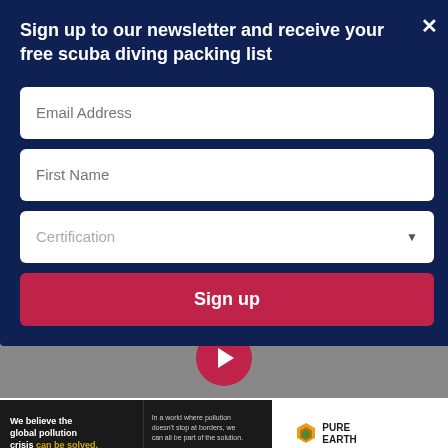Sign up to our newsletter and receive your free scuba diving packing list
[Figure (screenshot): Newsletter signup form modal with dark navy background containing email address field, first name field, certification dropdown, and a red sign up button]
[Figure (infographic): Pure Earth advertisement banner: 'We believe the global pollution crisis can be solved. In a world where pollution doesn't stop at borders, we can all be part of the solution. JOIN US.' with Pure Earth logo]